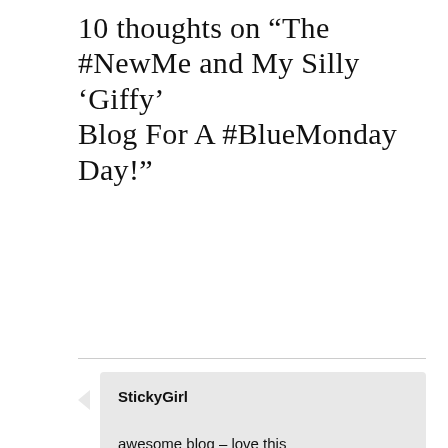10 thoughts on “The #NewMe and My Silly ‘Giffy’ Blog For A #BlueMonday Day!”
StickyGirl
awesome blog – love this woman !!
Like
FEBRUARY 6, 2018 AT 1:52 PM